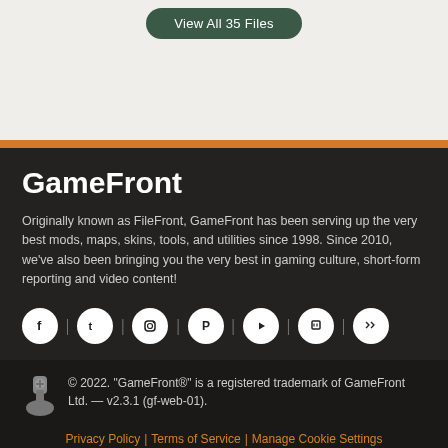[Figure (other): Button labeled 'View All 35 Files' with dark green rounded rectangle background]
GameFront
Originally known as FileFront, GameFront has been serving up the very best mods, maps, skins, tools, and utilities since 1998. Since 2010, we've also been bringing you the very best in gaming culture, short-form reporting and video content!
[Figure (other): Social media icons row: Facebook, Twitter, Instagram, Pinterest, YouTube, Twitch, Steam]
© 2022. "GameFront®" is a registered trademark of GameFront Ltd. — v2.3.1 (gf-web-01).
Privacy Policy | Terms of Service | Manage Cookie Settings